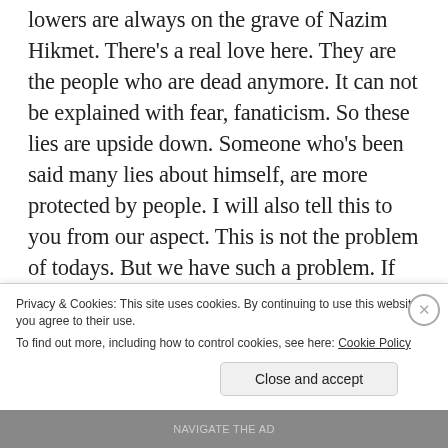lowers are always on the grave of Nazim Hikmet. There's a real love here. They are the people who are dead anymore. It can not be explained with fear, fanaticism. So these lies are upside down. Someone who's been said many lies about himself, are more protected by people. I will also tell this to you from our aspect. This is not the problem of todays. But we have such a problem. If we allow some events in history to be distorted, it is not just the Stalin issue. Today, for example, fifty thousand lies have been said about Syria. They
Privacy & Cookies: This site uses cookies. By continuing to use this website, you agree to their use.
To find out more, including how to control cookies, see here: Cookie Policy
Close and accept